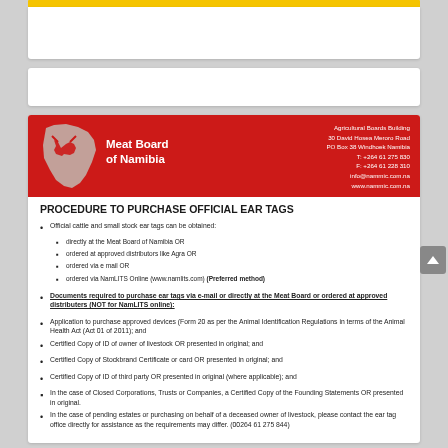[Figure (logo): Meat Board of Namibia logo with red banner, Namibia map silhouette, and contact information. Agricultural Boards Building, 30 David Hosea Meroro Road, PO Box 38 Windhoek Namibia, T: +264 61 275 830, F: +264 61 228 310, info@nammic.com.na, www.nammic.com.na]
PROCEDURE TO PURCHASE OFFICIAL EAR TAGS
Official cattle and small stock ear tags can be obtained:
directly at the Meat Board of Namibia OR
ordered at approved distributors like Agra OR
ordered via e mail OR
ordered via NamLITS Online (www.namlits.com) (Preferred method)
Documents required to purchase ear tags via e-mail or directly at the Meat Board or ordered at approved distributers (NOT for NamLITS online):
Application to purchase approved devices (Form 20 as per the Animal Identification Regulations in terms of the Animal Health Act (Act 01 of 2011); and
Certified Copy of ID of owner of livestock OR presented in original; and
Certified Copy of Stockbrand Certificate or card OR presented in original; and
Certified Copy of ID of third party OR presented in original (where applicable); and
In the case of Closed Corporations, Trusts or Companies, a Certified Copy of the Founding Statements OR presented in original.
In the case of pending estates or purchasing on behalf of a deceased owner of livestock, please contact the ear tag office directly for assistance as the requirements may differ. (00264 61 275 844)